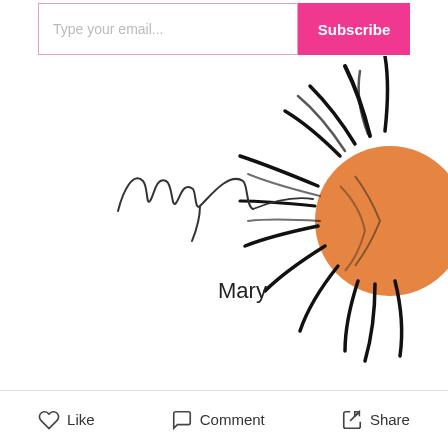[Figure (screenshot): Email subscription bar with 'Type your email...' placeholder input and pink 'Subscribe' button]
[Figure (illustration): Hand-drawn illustration of a signature 'Mary' in cursive script with a printed 'Mary' label, alongside a partially visible sunflower drawing with orange center and black sketched petals]
[Figure (screenshot): Social action bar with Like, Comment, and Share buttons]